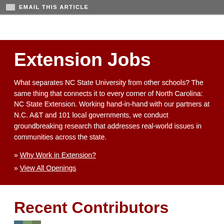EMAIL THIS ARTICLE
Extension Jobs
What separates NC State University from other schools? The same thing that connects it to every corner of North Carolina: NC State Extension. Working hand-in-hand with our partners at N.C. A&T and 101 local governments, we conduct groundbreaking research that addresses real-world issues in communities across the state.
» Why Work in Extension?
» View All Openings
Recent Contributors